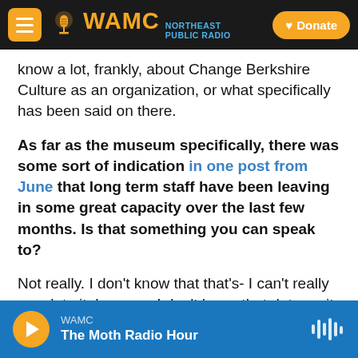WAMC Northeast Public Radio — Donate
know a lot, frankly, about Change Berkshire Culture as an organization, or what specifically has been said on there.
As far as the museum specifically, there was some sort of indication in one post from June that long term staff have been leaving in some great capacity over the last few months. Is that something you can speak to?
Not really. I don't know that that's- I can't really speak to it, because I don't know that data on it. I think that there's been a lot of turnover throughout
WAMC — The Moth Radio Hour